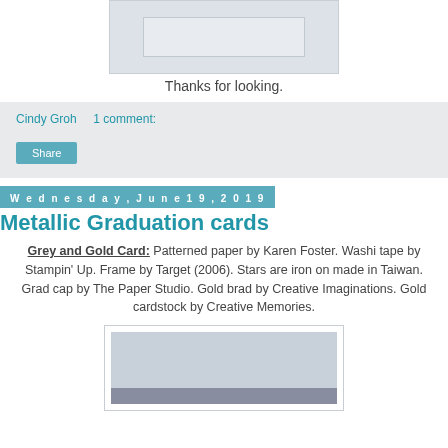[Figure (photo): Partial image of a card at the top of the page, mostly grey/light blue rectangle]
Thanks for looking.
Cindy Groh   1 comment:
Share
Wednesday, June 19, 2019
Metallic Graduation cards
Grey and Gold Card: Patterned paper by Karen Foster. Washi tape by Stampin' Up. Frame by Target (2006). Stars are iron on made in Taiwan. Grad cap by The Paper Studio. Gold brad by Creative Imaginations. Gold cardstock by Creative Memories.
[Figure (photo): Partial image of a graduation card at the bottom of the page]